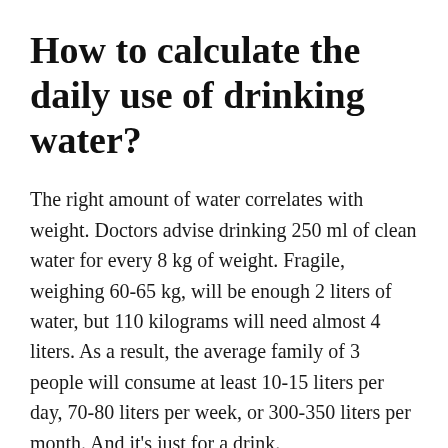How to calculate the daily use of drinking water?
The right amount of water correlates with weight. Doctors advise drinking 250 ml of clean water for every 8 kg of weight. Fragile, weighing 60-65 kg, will be enough 2 liters of water, but 110 kilograms will need almost 4 liters. As a result, the average family of 3 people will consume at least 10-15 liters per day, 70-80 liters per week, or 300-350 liters per month. And it's just for a drink.
Based on the above numbers and water quality, it is worth choosing the right filter. Here's how much capacity you need for each type of filter…